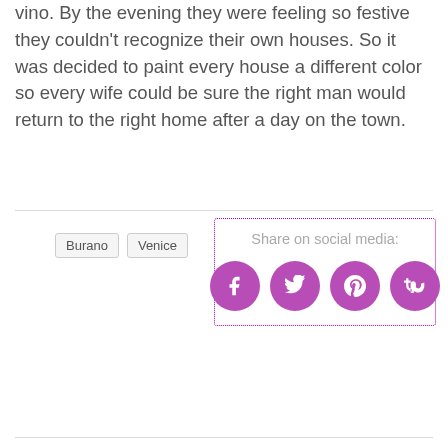vino. By the evening they were feeling so festive they couldn't recognize their own houses. So it was decided to paint every house a different color so every wife could be sure the right man would return to the right home after a day on the town.
Burano
Venice
Share on social media: